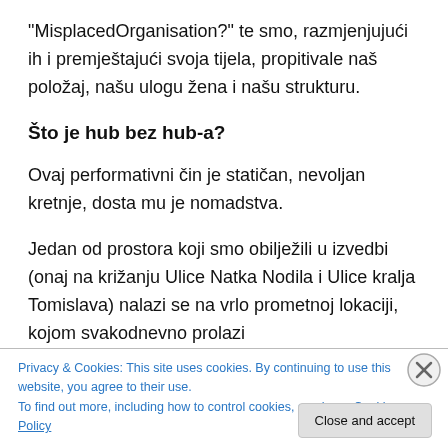“MisplacedOrganisation?” te smo, razmjenjujući ih i premještajući svoja tijela, propitivale naš položaj, našu ulogu žena i našu strukturu.
Što je hub bez hub-a?
Ovaj performativni čin je statičan, nevoljan kretnje, dosta mu je nomadstva.
Jedan od prostora koji smo obilježili u izvedbi (onaj na križanju Ulice Natka Nodila i Ulice kralja Tomislava) nalazi se na vrlo prometnoj lokaciji, kojom svakodnevno prolazi
Privacy & Cookies: This site uses cookies. By continuing to use this website, you agree to their use.
To find out more, including how to control cookies, see here: Cookie Policy
Close and accept